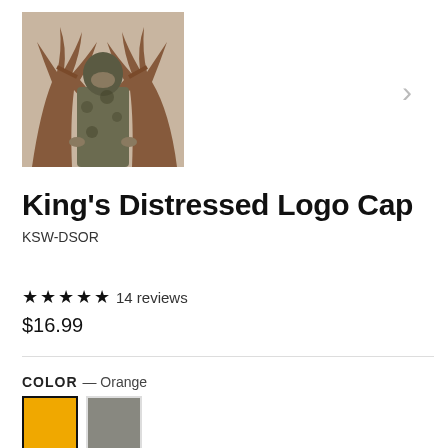[Figure (photo): Person in camouflage gear holding large elk antlers, product lifestyle photo]
King's Distressed Logo Cap
KSW-DSOR
★★★★★ 14 reviews
$16.99
COLOR — Orange
[Figure (illustration): Two color swatches: orange (selected, with black border) and gray]